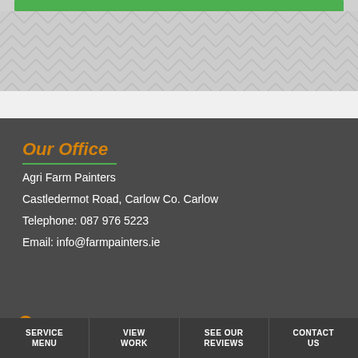[Figure (other): Green bar and chevron/hatching pattern decorative header element]
Our Office
Agri Farm Painters
Castledermot Road, Carlow Co. Carlow
Telephone: 087 976 5223
Email: info@farmpainters.ie
SERVICE MENU | VIEW WORK | SEE OUR REVIEWS | CONTACT US